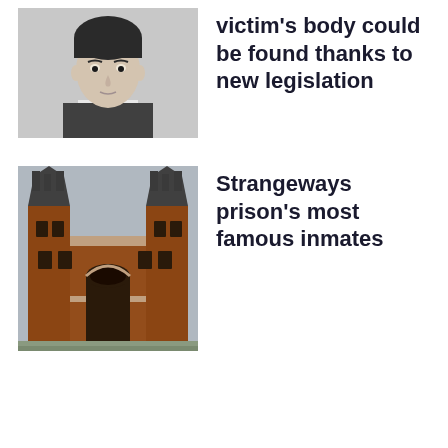[Figure (photo): Black and white portrait photo of a young man in a suit]
victim's body could be found thanks to new legislation
[Figure (photo): Color photo of Strangeways prison building exterior, a Victorian red-brick structure with pointed turrets]
Strangeways prison's most famous inmates